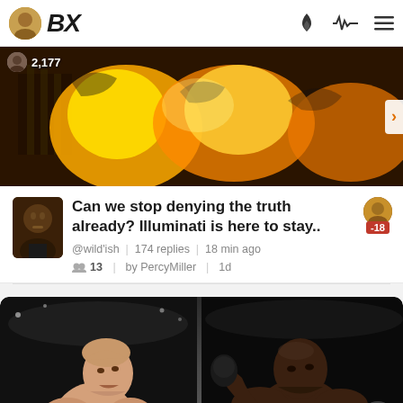BX — navigation bar with avatar, logo, flame icon, pulse icon, menu icon
[Figure (screenshot): Top banner image showing a fiery orange/gold illustrated artwork with abstract flame shapes and structures. Shows count avatar with 2,177 and a right-arrow navigation control.]
Can we stop denying the truth already? Illuminati is here to stay..
@wild'ish | 174 replies | 18 min ago
13 | by PercyMiller | 1d
[Figure (photo): Split image showing two boxers: left side shows a tattooed shirtless white male boxer with orange gloves looking upward; right side shows a muscular Black male boxer in a fighting stance. An upward-arrow circle button overlays the right side.]